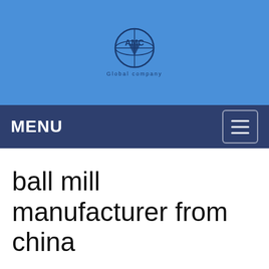[Figure (logo): AMC Global company logo — globe icon with AMC text and 'Global company' subtitle, on blue background]
MENU
ball mill manufacturer from china
Tell us what you are looking for?
Please fill in and submit the following form, our service team will contact you as soon as possible and provide a complete solution.